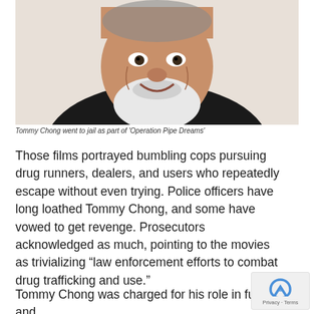[Figure (photo): Smiling elderly man with white beard and dark jacket, photographed from shoulders up against a light background]
Tommy Chong went to jail as part of 'Operation Pipe Dreams'
Those films portrayed bumbling cops pursuing drug runners, dealers, and users who repeatedly escape without even trying. Police officers have long loathed Tommy Chong, and some have vowed to get revenge. Prosecutors acknowledged as much, pointing to the movies as trivializing “law enforcement efforts to combat drug trafficking and use.”
Tommy Chong was charged for his role in funding and